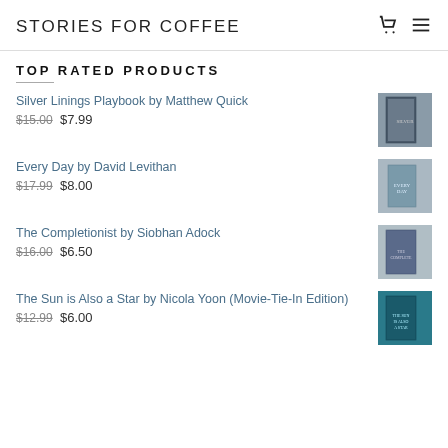STORIES FOR COFFEE
TOP RATED PRODUCTS
Silver Linings Playbook by Matthew Quick — $15.00 $7.99
Every Day by David Levithan — $17.99 $8.00
The Completionist by Siobhan Adock — $16.00 $6.50
The Sun is Also a Star by Nicola Yoon (Movie-Tie-In Edition) — $12.99 $6.00